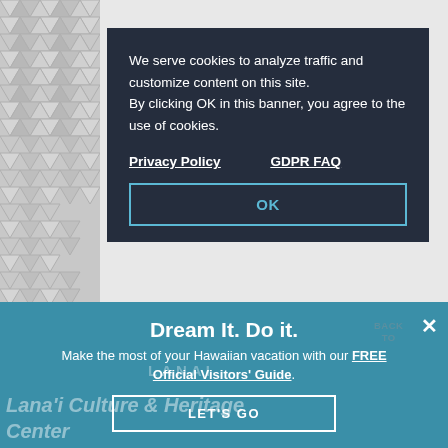[Figure (screenshot): Cookie consent modal overlay on a travel/tourism website. Dark navy background with white text cookie notice, Privacy Policy and GDPR FAQ links, and an OK button with teal border. Behind it is a page with geometric triangle pattern on the left, a museum image strip, and a teal promotional banner at bottom with 'Dream It. Do it.' headline and LET'S GO button.]
We serve cookies to analyze traffic and customize content on this site. By clicking OK in this banner, you agree to the use of cookies.
Privacy Policy
GDPR FAQ
OK
BACK TO
Dream It. Do it.
Make the most of your Hawaiian vacation with our FREE Official Visitors' Guide.
LET'S GO
Lana'i Culture & Heritage Center